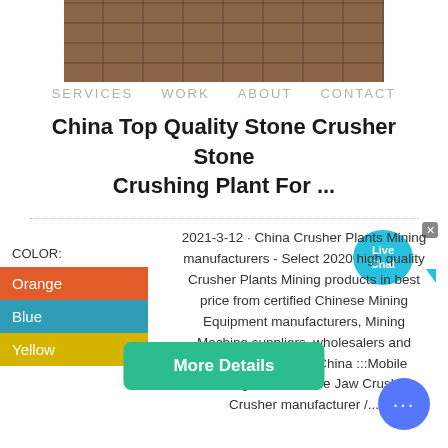[Figure (photo): Partial view of a brick wall / industrial machinery photograph at top of page]
SERVICES   WORK   ABOUT   CONTACT
China Top Quality Stone Crusher Stone Crushing Plant For ...
2021-3-12 · China Crusher Plants Mining manufacturers - Select 2020 high quality Crusher Plants Mining products in best price from certified Chinese Mining Equipment manufacturers, Mining Machine suppliers, wholesalers and factory on Made-in-China :::Mobile Crushing Plant, Mobile Jaw Crusher, Crusher manufacturer /...
Orange
Blue
Yellow
[Figure (illustration): Live Chat speech bubble widget in cyan/blue]
More Details
[Figure (illustration): Blue circular chat icon with ellipsis dots at bottom right]